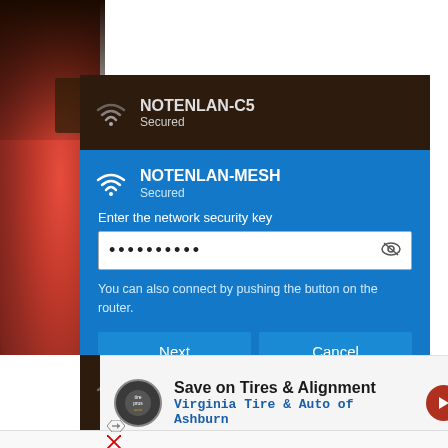[Figure (screenshot): Windows 10 WiFi network list showing NOTENLAN-C5 (dark panel), NOTENLAN-MESH active with password entry dialog (blue panel showing 'Enter the network security key' with dots, 'You can also connect by pushing the button on the router.', Next and Cancel buttons), and XFINITY below; red flower photo background on left side]
NOTENLAN-C5
Secured
NOTENLAN-MESH
Secured
Enter the network security key
••••••••••
You can also connect by pushing the button on the router.
Next
Cancel
XFINITY
Secured
Save on Tires & Alignment
Virginia Tire & Auto of Ashburn